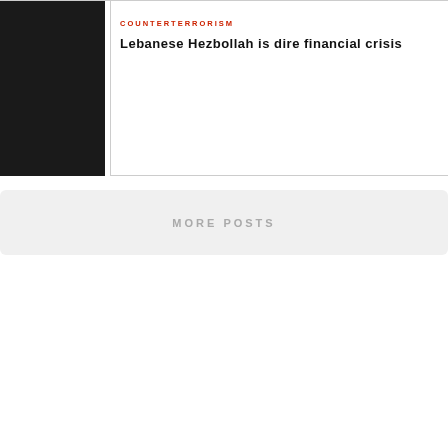[Figure (photo): Dark/black rectangular image placeholder on the left side]
COUNTERTERRORISM
Lebanese Hezbollah is dire financial crisis
MORE POSTS